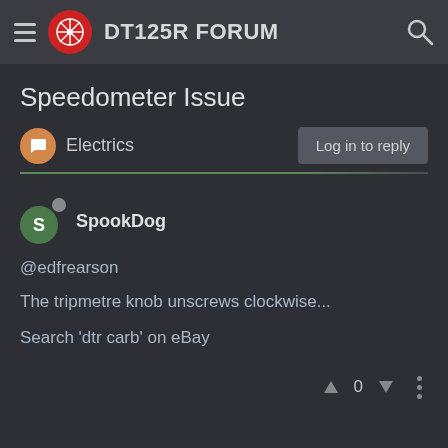DT125R FORUM
Speedometer Issue
Electrics
@edfrearson
The tripmetre knob unscrews clockwise...
Search 'dtr carb' on eBay